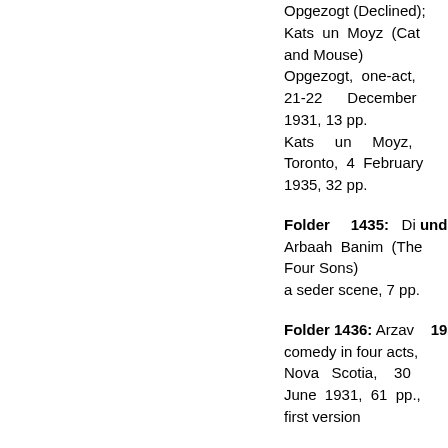Opgezogt (Declined); Kats un Moyz (Cat and Mouse)
Opgezogt, one-act, 21-22 December 1931, 13 pp.
Kats un Moyz, Toronto, 4 February 1935, 32 pp.
Folder 1435: Di und Arbaah Banim (The Four Sons)
a seder scene, 7 pp.
Folder 1436: Arzav 193 comedy in four acts, Nova Scotia, 30 June 1931, 61 pp., first version
Folder 1437: Der und A.R.Z.A.V.